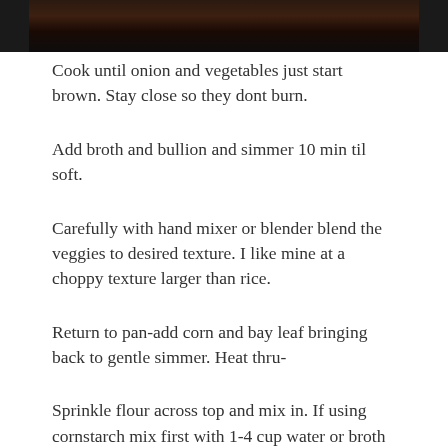[Figure (photo): Dark food photograph at the top of the page, showing cooking in a pan]
Cook until onion and vegetables just start brown. Stay close so they dont burn.
Add broth and bullion and simmer 10 min til soft.
Carefully with hand mixer or blender blend the veggies to desired texture. I like mine at a choppy texture larger than rice.
Return to pan-add corn and bay leaf bringing back to gentle simmer. Heat thru-
Sprinkle flour across top and mix in. If using cornstarch mix first with 1-4 cup water or broth and add.
Add milk( or coconut milk) and simmer to desired thickness